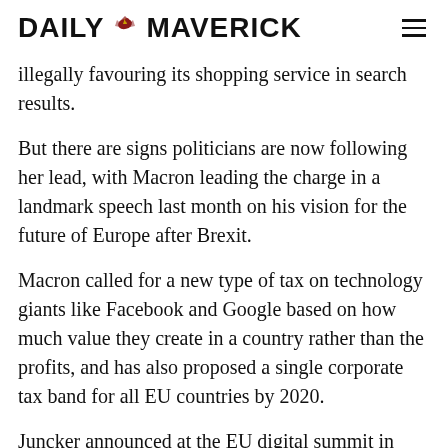DAILY MAVERICK
illegally favouring its shopping service in search results.
But there are signs politicians are now following her lead, with Macron leading the charge in a landmark speech last month on his vision for the future of Europe after Brexit.
Macron called for a new type of tax on technology giants like Facebook and Google based on how much value they create in a country rather than the profits, and has also proposed a single corporate tax band for all EU countries by 2020.
Juncker announced at the EU digital summit in